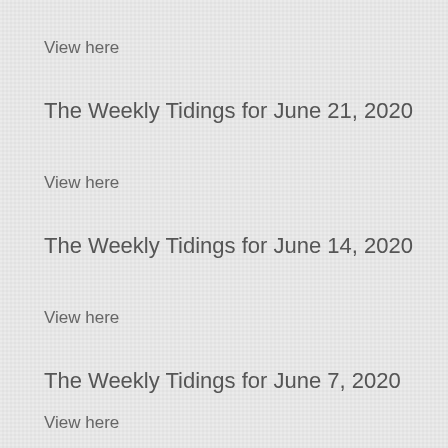View here
The Weekly Tidings for June 21, 2020
View here
The Weekly Tidings for June 14, 2020
View here
The Weekly Tidings for June 7, 2020
View here